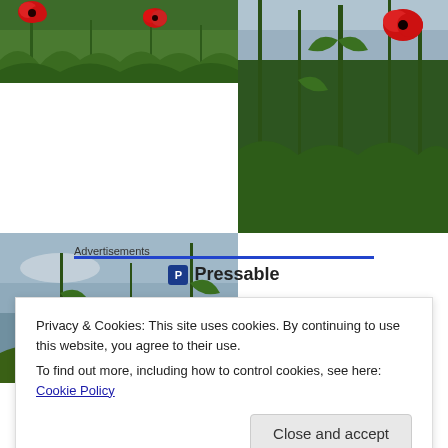[Figure (photo): Collage of three poppy flower field photos: top-left shows red poppies against green stems, top/bottom-right shows tall green plants with red poppy and sky, bottom-left shows red poppy at low angle against blue-grey sky]
Advertisements
Pressable
Privacy & Cookies: This site uses cookies. By continuing to use this website, you agree to their use.
To find out more, including how to control cookies, see here: Cookie Policy
Close and accept
Works Best